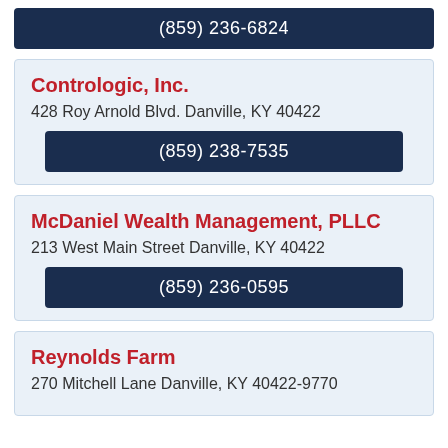(859) 236-6824
Contrologic, Inc.
428 Roy Arnold Blvd. Danville, KY 40422
(859) 238-7535
McDaniel Wealth Management, PLLC
213 West Main Street Danville, KY 40422
(859) 236-0595
Reynolds Farm
270 Mitchell Lane Danville, KY 40422-9770